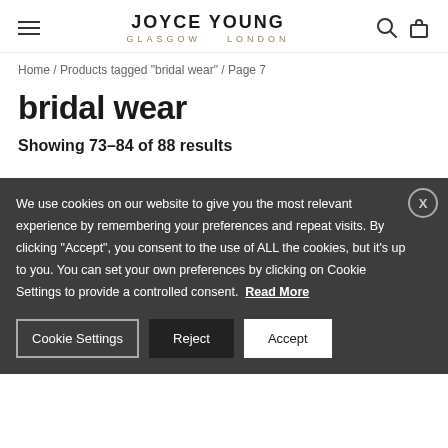JOYCE YOUNG GLASGOW LONDON
Home / Products tagged "bridal wear" / Page 7
bridal wear
Showing 73–84 of 88 results
We use cookies on our website to give you the most relevant experience by remembering your preferences and repeat visits. By clicking "Accept", you consent to the use of ALL the cookies, but it's up to you. You can set your own preferences by clicking on Cookie Settings to provide a controlled consent. Read More
Cookie Settings | Reject | Accept